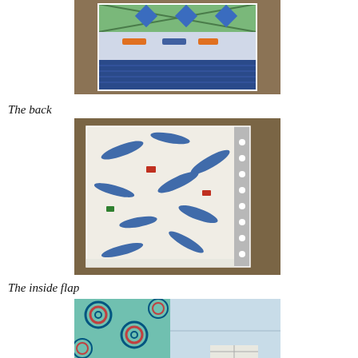[Figure (photo): Photo of a quilted book cover or wallet with patchwork fabric featuring planes, blue diamond pattern, and orange rocket/plane fabric, displayed on a wooden surface]
The back
[Figure (photo): Photo of the back of a fabric book cover/portfolio showing white fabric with blue jet airplane print and a grey polka dot binding edge, laid flat on a wooden surface]
The inside flap
[Figure (photo): Partial photo of the inside flap of the fabric cover showing teal/green circular retro print fabric and a light blue pocket, on a wooden surface]